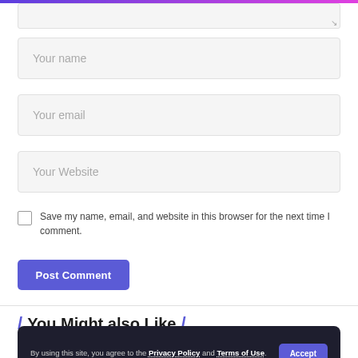[Figure (screenshot): Textarea input box (comment field, partially visible at top)]
Your name
Your email
Your Website
Save my name, email, and website in this browser for the next time I comment.
Post Comment
/ You Might also Like /
By using this site, you agree to the Privacy Policy and Terms of Use.